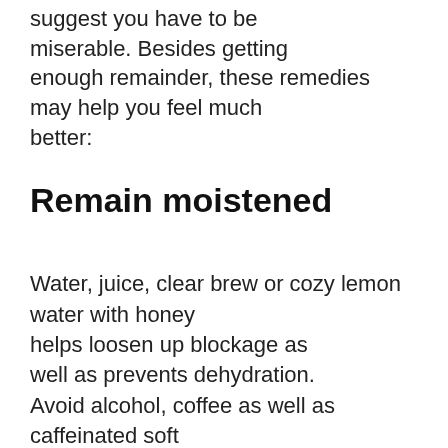suggest you have to be miserable. Besides getting enough remainder, these remedies may help you feel much better:
Remain moistened
Water, juice, clear brew or cozy lemon water with honey helps loosen up blockage as well as prevents dehydration. Avoid alcohol, coffee as well as caffeinated soft drinks, which can make dehydration even worse.